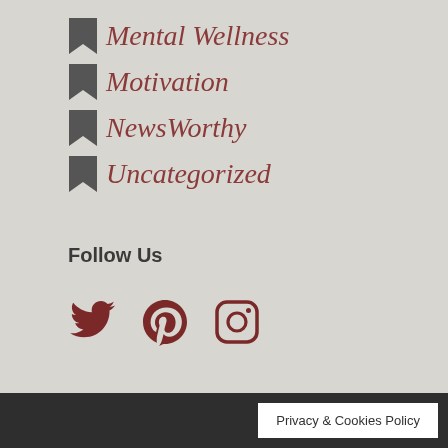Mental Wellness
Motivation
NewsWorthy
Uncategorized
Follow Us
[Figure (infographic): Social media icons: Twitter (bird), Pinterest (P), Instagram (camera)]
Privacy & Cookies Policy